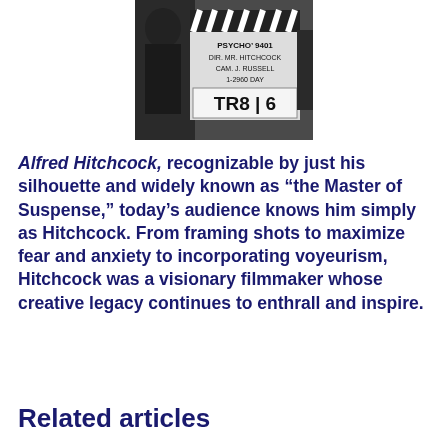[Figure (photo): Black and white photograph of Alfred Hitchcock holding a clapperboard that reads PSYCHO 9401, DIR. MR. HITCHCOCK, CAM. J. RUSSELL, 1-2960 DAY, TR8 6]
Alfred Hitchcock, recognizable by just his silhouette and widely known as “the Master of Suspense,” today’s audience knows him simply as Hitchcock. From framing shots to maximize fear and anxiety to incorporating voyeurism, Hitchcock was a visionary filmmaker whose creative legacy continues to enthrall and inspire.
Related articles